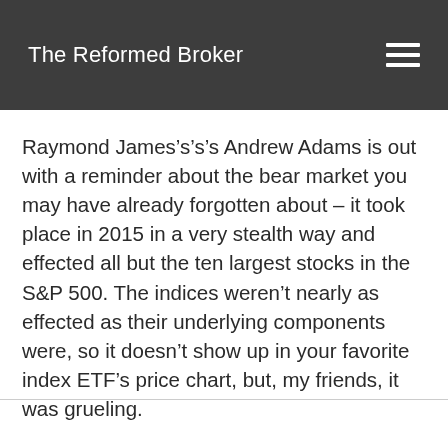The Reformed Broker
Raymond James’s’s’s Andrew Adams is out with a reminder about the bear market you may have already forgotten about – it took place in 2015 in a very stealth way and effected all but the ten largest stocks in the S&P 500. The indices weren’t nearly as effected as their underlying components were, so it doesn’t show up in your favorite index ETF’s price chart, but, my friends, it was grueling.